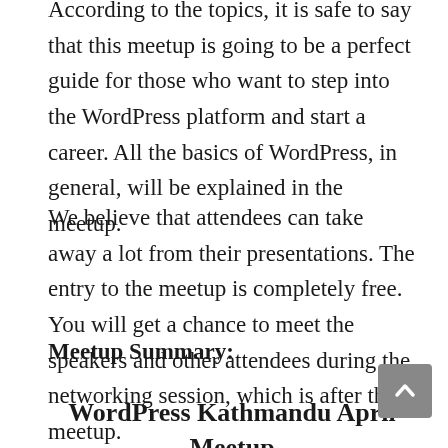According to the topics, it is safe to say that this meetup is going to be a perfect guide for those who want to step into the WordPress platform and start a career. All the basics of WordPress, in general, will be explained in the meetup.
We believe that attendees can take away a lot from their presentations. The entry to the meetup is completely free. You will get a chance to meet the speakers and other attendees during the networking session, which is after the meetup.
Meetup Summary:
WordPress Kathmandu April Meetup 2022